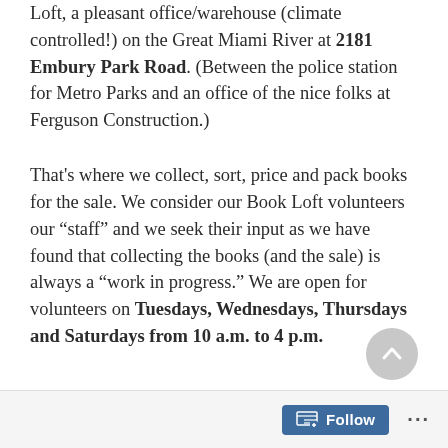Loft, a pleasant office/warehouse (climate controlled!) on the Great Miami River at 2181 Embury Park Road. (Between the police station for Metro Parks and an office of the nice folks at Ferguson Construction.)
That's where we collect, sort, price and pack books for the sale. We consider our Book Loft volunteers our “staff” and we seek their input as we have found that collecting the books (and the sale) is always a “work in progress.” We are open for volunteers on Tuesdays, Wednesdays, Thursdays and Saturdays from 10 a.m. to 4 p.m.
Follow